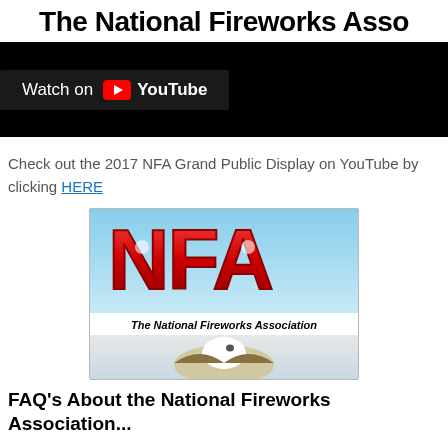The National Fireworks Asso
[Figure (screenshot): YouTube video embed banner with 'Watch on YouTube' button on black background]
Check out the 2017 NFA Grand Public Display on YouTube by clicking HERE
[Figure (logo): NFA - The National Fireworks Association logo with bald eagle, red NFA letters on sky blue background]
FAQ's About the National Fireworks Association...